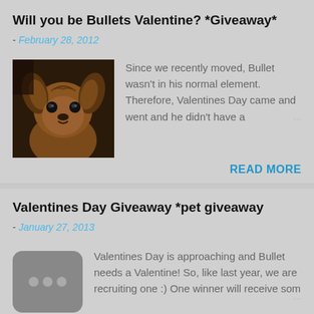Will you be Bullets Valentine? *Giveaway*
- February 28, 2012
[Figure (photo): Close-up photo of a small dog (Chihuahua mix) looking at the camera]
Since we recently moved, Bullet wasn't in his normal element. Therefore, Valentines Day came and went and he didn't have a ...
READ MORE
Valentines Day Giveaway *pet giveaway
- January 27, 2013
[Figure (illustration): Gray rounded rectangle placeholder image with three dots]
Valentines Day is approaching and Bullet needs a Valentine! So, like last year, we are recruiting one :) One winner will receive som ...
READ MORE